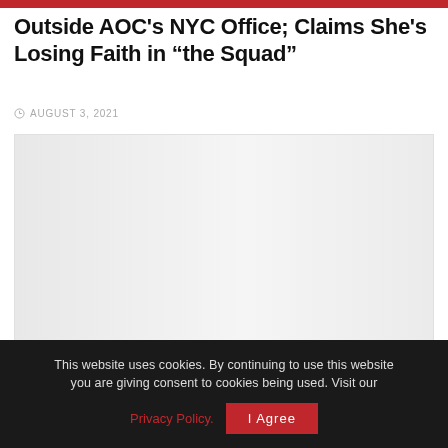Outside AOC's NYC Office; Claims She's Losing Faith in “the Squad”
AUGUST 3, 2021
[Figure (photo): A placeholder image area, light grey, likely a photo of a news event]
This website uses cookies. By continuing to use this website you are giving consent to cookies being used. Visit our Privacy Policy.  I Agree